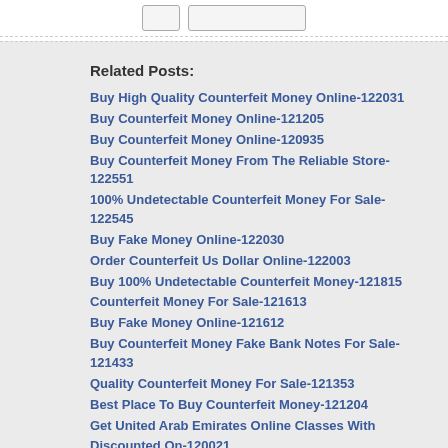Related Posts:
Buy High Quality Counterfeit Money Online-122031
Buy Counterfeit Money Online-121205
Buy Counterfeit Money Online-120935
Buy Counterfeit Money From The Reliable Store-122551
100% Undetectable Counterfeit Money For Sale-122545
Buy Fake Money Online-122030
Order Counterfeit Us Dollar Online-122003
Buy 100% Undetectable Counterfeit Money-121815
Counterfeit Money For Sale-121613
Buy Fake Money Online-121612
Buy Counterfeit Money Fake Bank Notes For Sale-121433
Quality Counterfeit Money For Sale-121353
Best Place To Buy Counterfeit Money-121204
Get United Arab Emirates Online Classes With Discounted On-120021